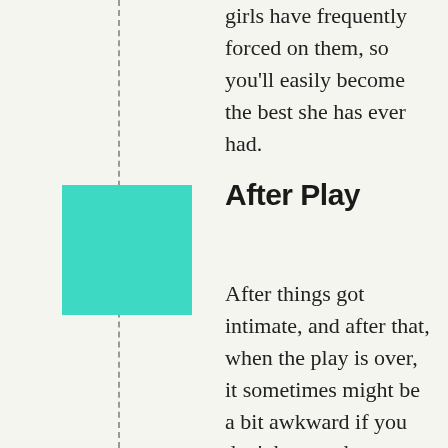girls have frequently forced on them, so you'll easily become the best she has ever had.
After Play
After things got intimate, and after that, when the play is over, it sometimes might be a bit awkward if you don't know what to say and what to do. Of course, the trick is to be as natural and as relaxed as possible, but if that does not come spontaneously, you'll just have to learn from the book how to come to that. Most guys totally neglect this part of intimacy, failing to see that this is an equally important part of sex, maybe even the most